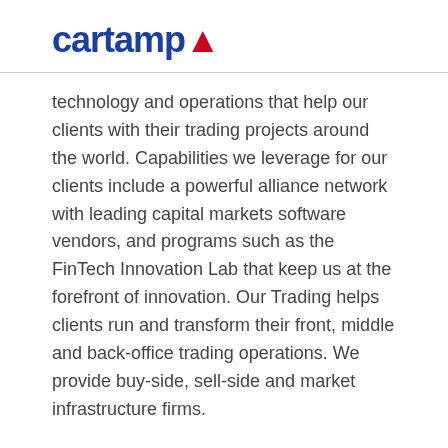cartamp.
technology and operations that help our clients with their trading projects around the world. Capabilities we leverage for our clients include a powerful alliance network with leading capital markets software vendors, and programs such as the FinTech Innovation Lab that keep us at the forefront of innovation. Our Trading helps clients run and transform their front, middle and back-office trading operations. We provide buy-side, sell-side and market infrastructure firms.
We provide buy-side, sell-side and market infrastructure firms with a full-service offering including...